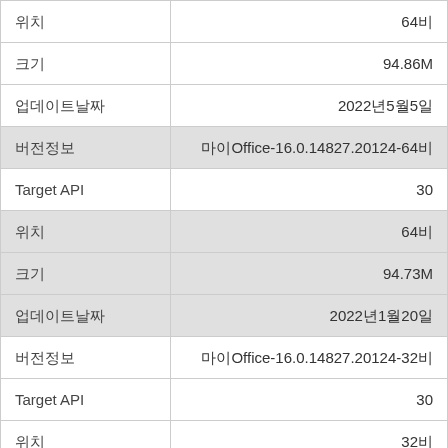|  |  |
| --- | --- |
| 위치 | 64비 |
| 크기 | 94.86M |
| 업데이트날짜 | 2022년5월5일 |
| 버전정보 | 마이Office-16.0.14827.20124-64비 |
| Target API | 30 |
| 위치 | 64비 |
| 크기 | 94.73M |
| 업데이트날짜 | 2022년1월20일 |
| 버전정보 | 마이Office-16.0.14827.20124-32비 |
| Target API | 30 |
| 위치 | 32비 |
| 크기 | 93.73M |